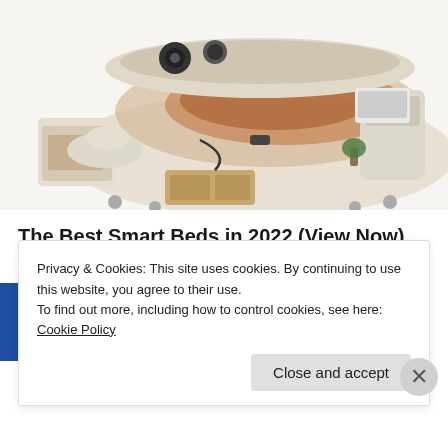[Figure (photo): Photo of a luxury smart bed with built-in storage drawers, massage chair attachment, speakers, laptop stand, and multiple compartments, shown in cream/beige upholstery.]
The Best Smart Beds in 2022 (View Now)
Smart Bed | Search Ads
[Figure (photo): Partial thumbnail image with blue/globe background, partially obscured by cookie banner.]
Almost Nobody Has Passed
Privacy & Cookies: This site uses cookies. By continuing to use this website, you agree to their use.
To find out more, including how to control cookies, see here: Cookie Policy
Close and accept